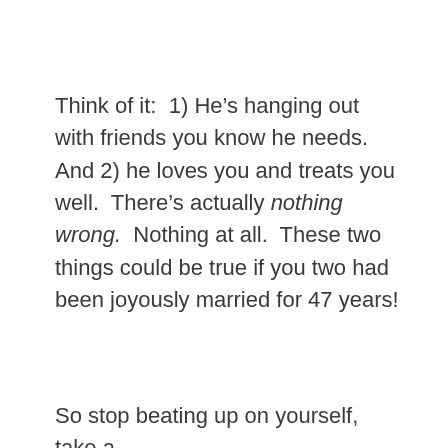Think of it:  1) He's hanging out with friends you know he needs.  And 2) he loves you and treats you well.  There's actually nothing wrong.  Nothing at all.  These two things could be true if you two had been joyously married for 47 years!
So stop beating up on yourself, take a